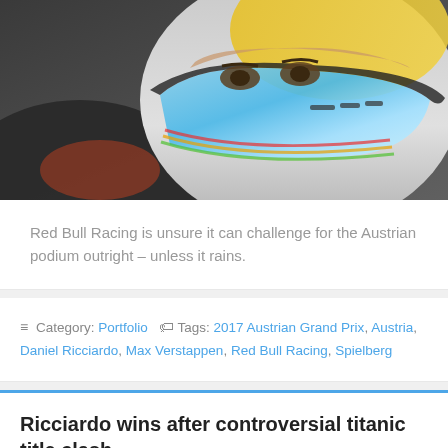[Figure (photo): Close-up photo of a Formula 1 racing driver wearing a colorful Red Bull racing helmet with blue visor, looking upward. Dark background with partial view of car.]
Red Bull Racing is unsure it can challenge for the Austrian podium outright – unless it rains.
≡ Category: Portfolio  🏷 Tags: 2017 Austrian Grand Prix, Austria, Daniel Ricciardo, Max Verstappen, Red Bull Racing, Spielberg
Ricciardo wins after controversial titanic title clash